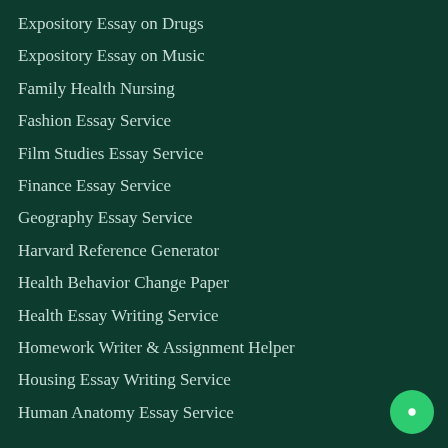Expository Essay on Drugs
Expository Essay on Music
Family Health Nursing
Fashion Essay Service
Film Studies Essay Service
Finance Essay Service
Geography Essay Service
Harvard Reference Generator
Health Behavior Change Paper
Health Essay Writing Service
Homework Writer & Assignment Helper
Housing Essay Writing Service
Human Anatomy Essay Service